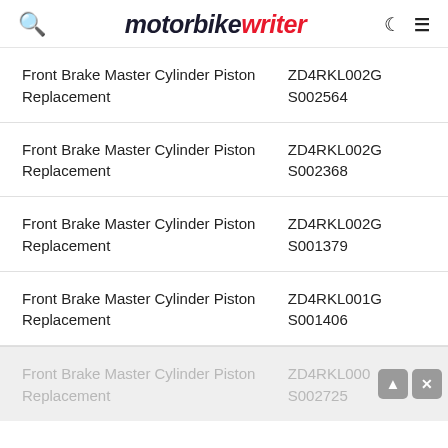motorbike writer
| Description | Code |
| --- | --- |
| Front Brake Master Cylinder Piston Replacement | ZD4RKL002GS002564 |
| Front Brake Master Cylinder Piston Replacement | ZD4RKL002GS002368 |
| Front Brake Master Cylinder Piston Replacement | ZD4RKL002GS001379 |
| Front Brake Master Cylinder Piston Replacement | ZD4RKL001GS001406 |
| Front Brake Master Cylinder Piston Replacement | ZD4RKL000GS002725 |